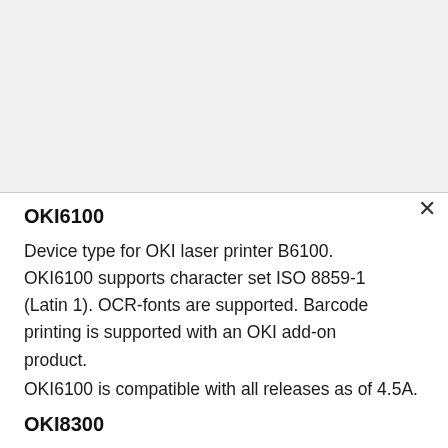OKI6100
Device type for OKI laser printer B6100. OKI6100 supports character set ISO 8859-1 (Latin 1). OCR-fonts are supported. Barcode printing is supported with an OKI add-on product.
OKI6100 is compatible with all releases as of 4.5A.
OKI8300
Device type for OKI laser printer B8300. OKI8300 supports character set ISO 8859-1 (Latin 1). OCR-fonts are not supported. Barcode printing is supported with an OKI add-on product.